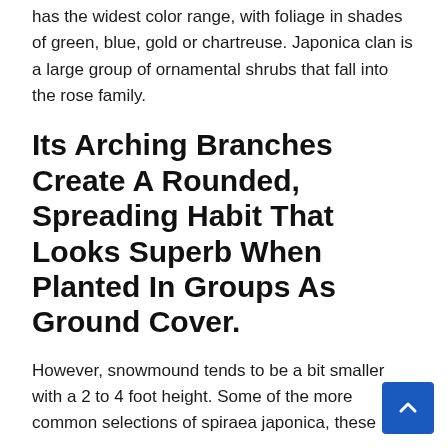has the widest color range, with foliage in shades of green, blue, gold or chartreuse. Japonica clan is a large group of ornamental shrubs that fall into the rose family.
Its Arching Branches Create A Rounded, Spreading Habit That Looks Superb When Planted In Groups As Ground Cover.
However, snowmound tends to be a bit smaller with a 2 to 4 foot height. Some of the more common selections of spiraea japonica, these